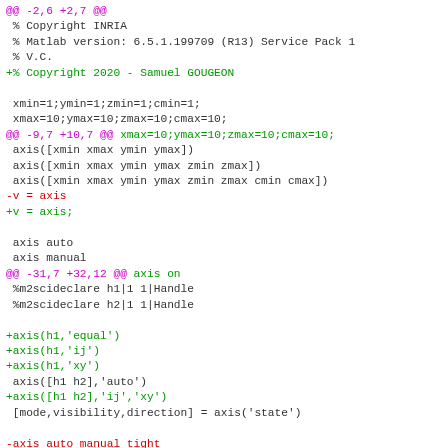Git diff code showing changes to a MATLAB axis function file. Includes copyright headers, variable definitions (xmin, xmax, ymin, ymax, zmin, zmax, cmin, cmax), axis commands, and additions of new axis function calls with handle arguments.